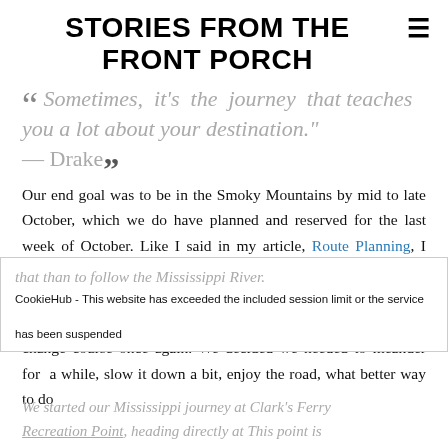STORIES FROM THE FRONT PORCH
" Sometimes, it's the journey that teaches you a lot about your destination." — Drake
Our end goal was to be in the Smoky Mountains by mid to late October, which we do have planned and reserved for the last week of October. Like I said in my article, Route Planning, I usually pick a Point B and work backward to fill in the spots. Since we are no longer going to the northeast for Fall colors and instead heading to the Smoky Mountains, it made sense to change course once again. We decided we needed to meander for a while, slow it down a bit, enjoy the road, what better way to do that than to follow the Mississippi River.
CookieHub - This website has exceeded the included session limit or the service has been suspended
We started our Mississippi journey at Clark's Ferry Recreation Point, heading directly to This point is